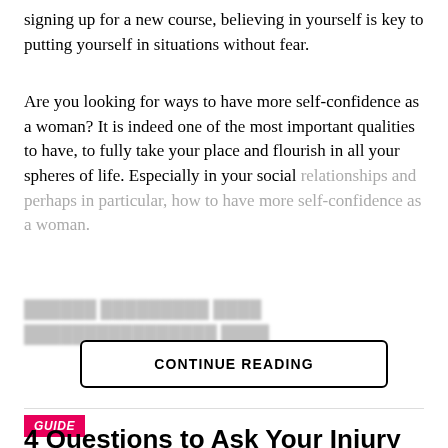signing up for a new course, believing in yourself is key to putting yourself in situations without fear.
Are you looking for ways to have more self-confidence as a woman? It is indeed one of the most important qualities to have, to fully take your place and flourish in all your spheres of life. Especially in your social relationships and perhaps in particular, how to have more self-confidence as a woman.
[blurred/obscured line]
CONTINUE READING
GUIDE
4 Questions to Ask Your Injury Attorney